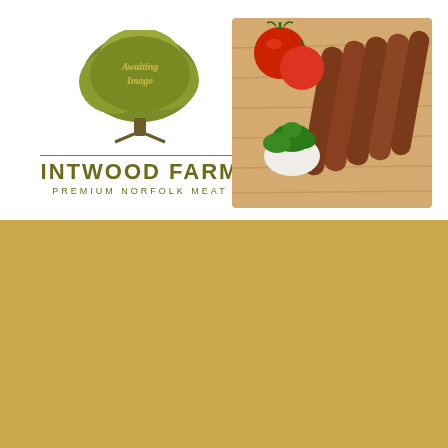[Figure (logo): Intwood Farm logo with green tree illustration, text 'Awaiting Image', company name 'INTWOOD FARM' and tagline 'PREMIUM NORFOLK MEAT']
[Figure (photo): Photo of sausages with tomatoes, parsley and sauce on a wooden chopping board]
We use cookies on our website to give you the most relevant experience by remembering your preferences and repeat visits. By clicking “Accept All”, you consent to the use of ALL the cookies. However, you may visit "Cookie Settings" to provide a controlled consent.
Cookie Settings
Accept All